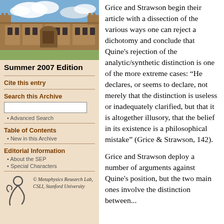[Figure (photo): Aerial/ground-level photo of a stone university building (likely Stanford or Oxford) with blue sky and clouds]
Summer 2007 Edition
Cite this entry
Search this Archive
Advanced Search
Table of Contents
New in this Archive
Editorial Information
About the SEP
Special Characters
[Figure (logo): Metaphysics Research Lab logo — stylized figure]
© Metaphysics Research Lab, CSLI, Stanford University
Grice and Strawson begin their article with a dissection of the various ways one can reject a dichotomy and conclude that Quine's rejection of the analytic/synthetic distinction is one of the more extreme cases: “He declares, or seems to declare, not merely that the distinction is useless or inadequately clarified, but that it is altogether illusory, that the belief in its existence is a philosophical mistake” (Grice & Strawson, 142).
Grice and Strawson deploy a number of arguments against Quine's position, but the two main ones involve the distinction between...